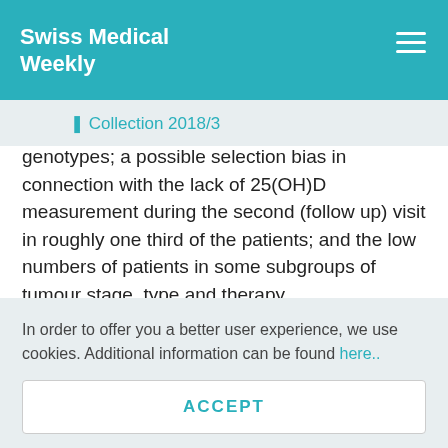Swiss Medical Weekly
Collection 2018/3
genotypes; a possible selection bias in connection with the lack of 25(OH)D measurement during the second (follow up) visit in roughly one third of the patients; and the low numbers of patients in some subgroups of tumour stage, type and therapy.
The lack of a reference group in our survey is justified by…
In order to offer you a better user experience, we use cookies. Additional information can be found here.
ACCEPT